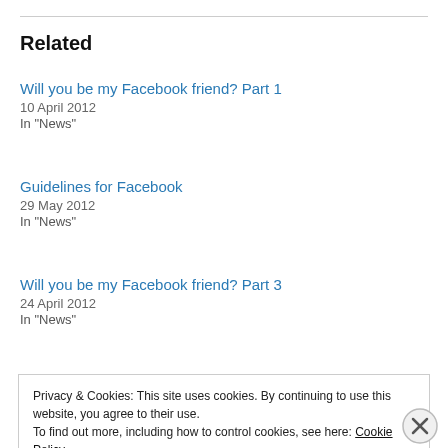Related
Will you be my Facebook friend? Part 1
10 April 2012
In "News"
Guidelines for Facebook
29 May 2012
In "News"
Will you be my Facebook friend? Part 3
24 April 2012
In "News"
Privacy & Cookies: This site uses cookies. By continuing to use this website, you agree to their use.
To find out more, including how to control cookies, see here: Cookie Policy